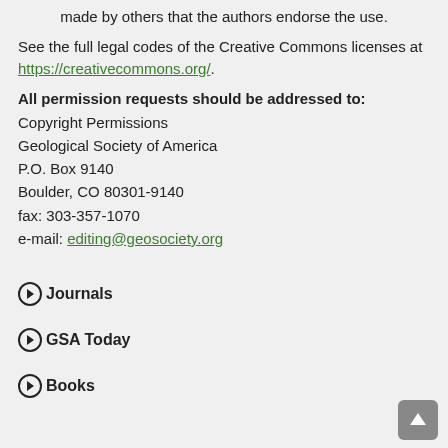made by others that the authors endorse the use.
See the full legal codes of the Creative Commons licenses at https://creativecommons.org/.
All permission requests should be addressed to:
Copyright Permissions
Geological Society of America
P.O. Box 9140
Boulder, CO 80301-9140
fax: 303-357-1070
e-mail: editing@geosociety.org
Journals
GSA Today
Books